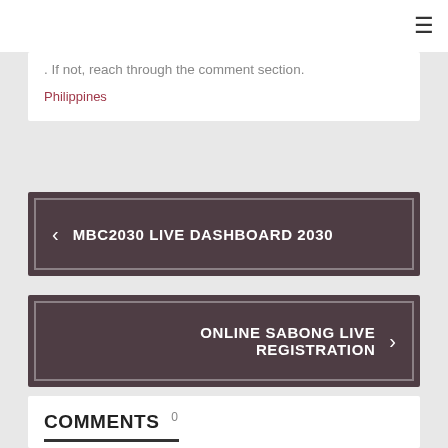≡
. If not, reach through the comment section.
Philippines
< MBC2030 LIVE DASHBOARD 2030
ONLINE SABONG LIVE REGISTRATION >
COMMENTS 0